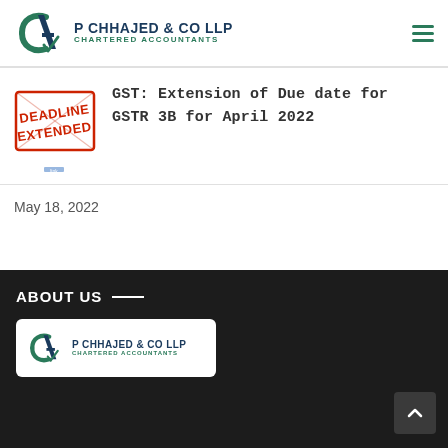P CHHAJED & CO LLP CHARTERED ACCOUNTANTS
GST: Extension of Due date for GSTR 3B for April 2022
May 18, 2022
ABOUT US
[Figure (logo): P Chhajed & Co LLP Chartered Accountants logo in footer card]